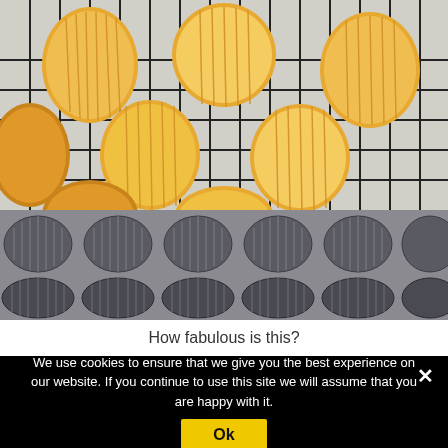[Figure (photo): Two photos stacked vertically: top photo shows golden shell-shaped madeleine cookies cooling on a black wire rack over a speckled countertop; bottom photo shows an empty metal madeleine baking pan with shell-shaped molds arranged in rows.]
How fabulous is this?
We use cookies to ensure that we give you the best experience on our website. If you continue to use this site we will assume that you are happy with it.